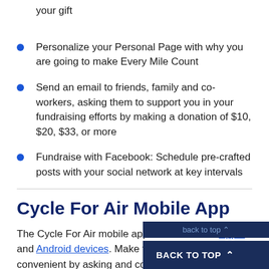your gift
Personalize your Personal Page with why you are going to make Every Mile Count
Send an email to friends, family and co-workers, asking them to support you in your fundraising efforts by making a donation of $10, $20, $33, or more
Fundraise with Facebook: Schedule pre-crafted posts with your social network at key intervals
Cycle For Air Mobile App
The Cycle For Air mobile app is available for Apple and Android devices. Make fundraising easy and convenient by asking and co...